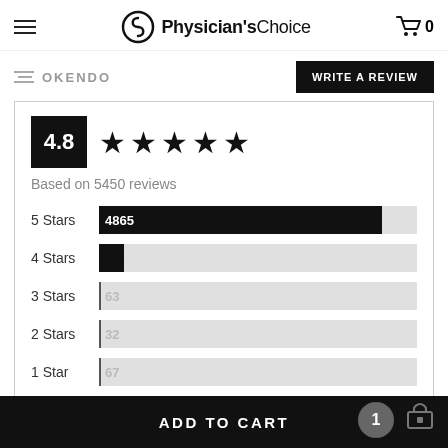Physician's Choice
OKENDO
WRITE A REVIEW
[Figure (bar-chart): 4.8 rating based on 5450 reviews]
ADD TO CART